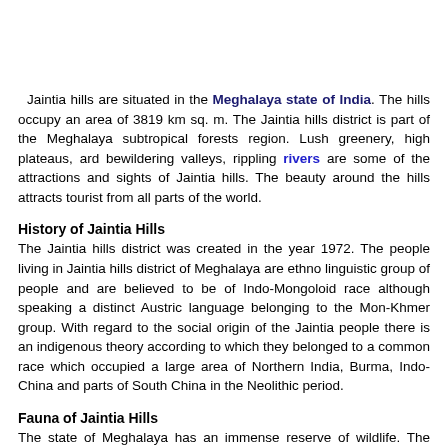Jaintia hills are situated in the Meghalaya state of India. The hills occupy an area of 3819 km sq. m. The Jaintia hills district is part of the Meghalaya subtropical forests region. Lush greenery, high plateaus, and bewildering valleys, rippling rivers are some of the attractions and sights of Jaintia hills. The beauty around the hills attracts tourist from all parts of the world.
History of Jaintia Hills
The Jaintia hills district was created in the year 1972. The people living in Jaintia hills district of Meghalaya are ethno linguistic group of people and are believed to be of Indo-Mongoloid race although speaking a distinct Austric language belonging to the Mon-Khmer group. With regard to the social origin of the Jaintia people there is an indigenous theory according to which they belonged to a common race which occupied a large area of Northern India, Burma, Indo-China and parts of South China in the Neolithic period.
Fauna of Jaintia Hills
The state of Meghalaya has an immense reserve of wildlife. The Jaintia hills have some population of elephants. Certain species of bee-eaters and bulbuls can be traced in the southern slopes of the Jaintia hills.